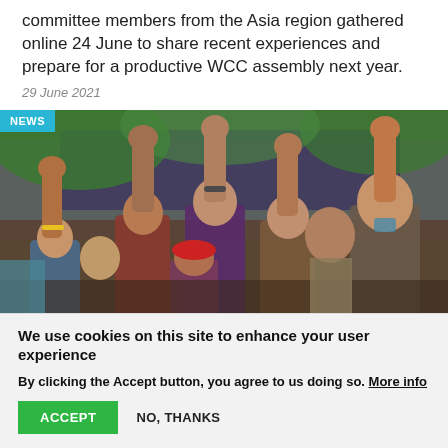committee members from the Asia region gathered online 24 June to share recent experiences and prepare for a productive WCC assembly next year.
29 June 2021
[Figure (photo): Crowd of people raising their fists in the air, protest scene outdoors with trees and a bus in background. A 'NEWS' badge is shown in the top-left corner.]
We use cookies on this site to enhance your user experience
By clicking the Accept button, you agree to us doing so. More info
ACCEPT
NO, THANKS